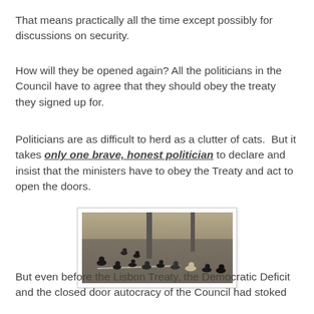That means practically all the time except possibly for discussions on security.
How will they be opened again? All the politicians in the Council have to agree that they should obey the treaty they signed up for.
Politicians are as difficult to herd as a clutter of cats.  But it takes only one brave, honest politician to declare and insist that the ministers have to obey the Treaty and act to open the doors.
[Figure (photo): A clutter of cats scattered on a paved outdoor area with utility poles in the background and dry grass/brush.]
But even before the Lisbon Treaty, the Democratic Deficit and the closed door autocracy of the Council had stoked public frustration, anger, a perception of...What would the